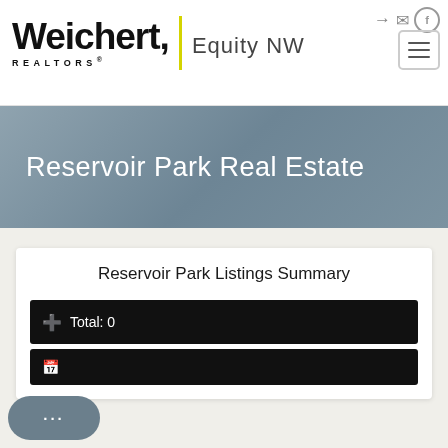[Figure (logo): Weichert Realtors Equity NW logo with yellow vertical divider bar and hamburger menu icon, plus login/mail/facebook icons in top right]
Reservoir Park Real Estate
Reservoir Park Listings Summary
Total: 0